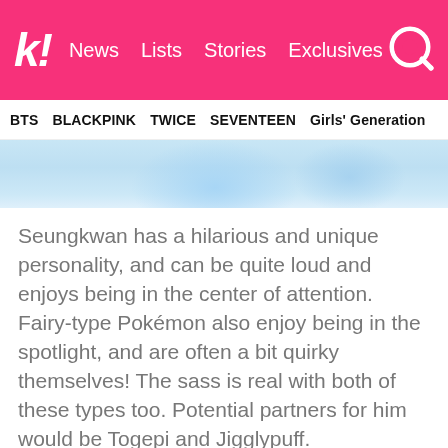k! News Lists Stories Exclusives
BTS BLACKPINK TWICE SEVENTEEN Girls' Generation
[Figure (photo): Hero image strip showing a blue/crystal background, partial view of a figure.]
Seungkwan has a hilarious and unique personality, and can be quite loud and enjoys being in the center of attention. Fairy-type Pokémon also enjoy being in the spotlight, and are often a bit quirky themselves! The sass is real with both of these types too. Potential partners for him would be Togepi and Jigglypuff.
[Figure (illustration): Illustration of Togepi Pokémon (star-shaped yellow/cream Pokémon with shell markings) on the left, and Jigglypuff Pokémon (pink round Pokémon with teal eyes and ears) on the right.]